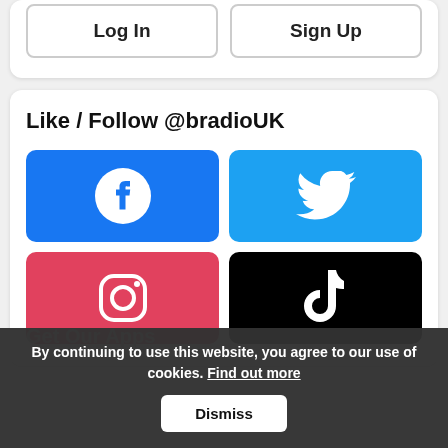Log In | Sign Up
Like / Follow @bradioUK
[Figure (other): Facebook button (blue background with white Facebook 'f' logo)]
[Figure (other): Twitter button (light blue background with white Twitter bird logo)]
[Figure (other): Instagram button (pink/red background with white Instagram camera logo)]
[Figure (other): TikTok button (black background with white TikTok logo)]
Get Our Apps
By continuing to use this website, you agree to our use of cookies. Find out more  Dismiss